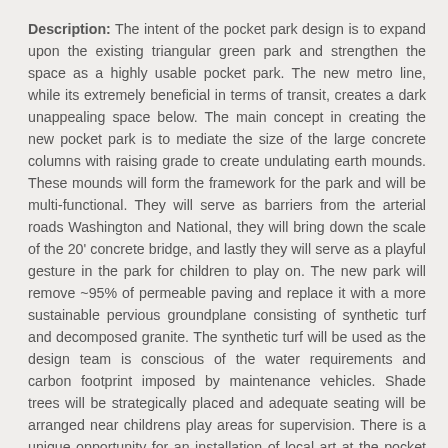Description:  The intent of the pocket park design is to expand upon the existing triangular green park and strengthen the space as a highly usable pocket park.  The new metro line, while its extremely beneficial in terms of transit, creates a dark unappealing space below.  The main concept in creating the new pocket park is to mediate the size of the large concrete columns with raising grade to create undulating earth mounds.  These mounds will form the framework for the park and will be multi-functional.  They will serve as barriers from the arterial roads Washington and National, they will bring down the scale of the 20' concrete bridge, and lastly they will serve as a playful gesture in the park for children to play on.  The new park will remove ~95% of permeable paving and replace it with a more sustainable pervious groundplane consisting of synthetic turf and decomposed granite.  The synthetic turf will be used as the design team is conscious of the water requirements and carbon footprint imposed by maintenance vehicles.  Shade trees will be strategically placed and adequate seating will be arranged near childrens play areas for supervision.  There is a unique opportunity for an installation of local art at the pocket park as the earth mounds set a black canvas for something to rise from within them.  An iconic art piece also will create an opportunity for the light rail users to have a recognizable element to reference and will hopefully be curious to affect as well as an opportunity to...